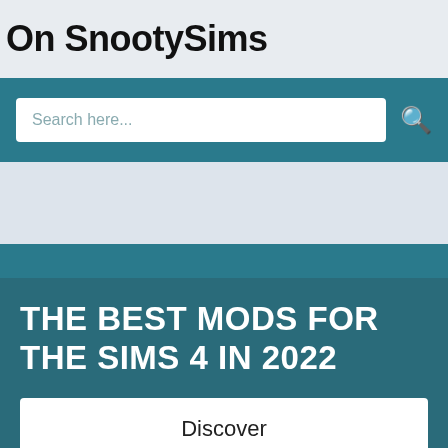On SnootySims
Search here...
THE BEST MODS FOR THE SIMS 4 IN 2022
Discover